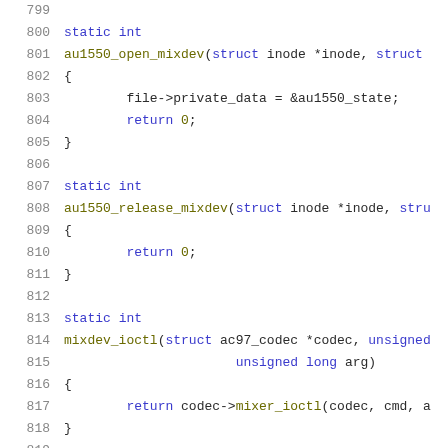[Figure (screenshot): Source code listing showing C functions: au1550_open_mixdev, au1550_release_mixdev, and mixdev_ioctl, with line numbers 799-819]